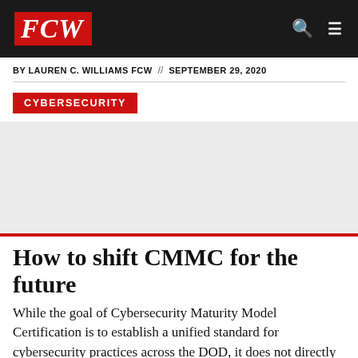FCW
BY LAUREN C. WILLIAMS FCW // SEPTEMBER 29, 2020
CYBERSECURITY
[Figure (photo): Article image placeholder area (grey background)]
How to shift CMMC for the future
While the goal of Cybersecurity Maturity Model Certification is to establish a unified standard for cybersecurity practices across the DOD, it does not directly address specific control expectations or risks